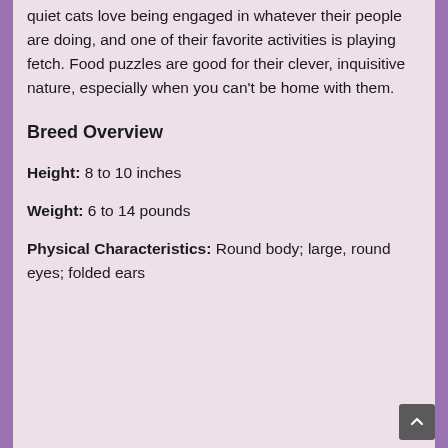quiet cats love being engaged in whatever their people are doing, and one of their favorite activities is playing fetch. Food puzzles are good for their clever, inquisitive nature, especially when you can't be home with them.
Breed Overview
Height: 8 to 10 inches
Weight: 6 to 14 pounds
Physical Characteristics: Round body; large, round eyes; folded ears